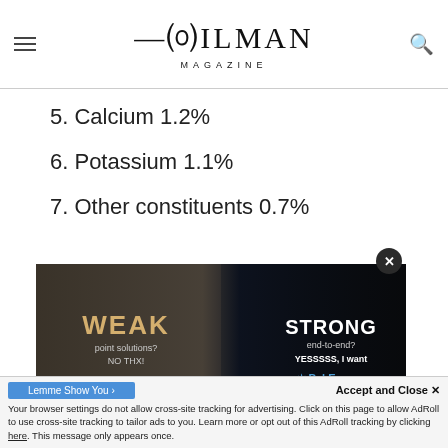OILMAN MAGAZINE
5. Calcium 1.2%
6. Potassium 1.1%
7. Other constituents 0.7%
[Figure (photo): Advertisement image showing a wolf split between weak (white/light side) and strong (dark/blue side) with text: WEAK point solutions? NO THX! | STRONG end-to-end? YESSSSS, I want | PakEnergy logo]
Lemme Show You ›
Accept and Close ✕
Your browser settings do not allow cross-site tracking for advertising. Click on this page to allow AdRoll to use cross-site tracking to tailor ads to you. Learn more or opt out of this AdRoll tracking by clicking here. This message only appears once.